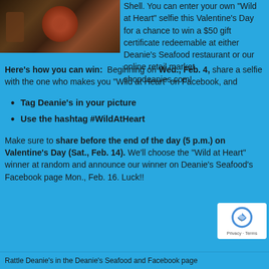[Figure (photo): Photo of seafood/lobster on a wooden surface, positioned top-left]
Shell. You can enter your own "Wild at Heart" selfie this Valentine's Day for a chance to win a $50 gift certificate redeemable at either Deanie's Seafood restaurant or our online retail market shopdeanies.com!
Here's how you can win:  Beginning on Wed., Feb. 4, share a selfie with the one who makes you "Wild at Heart" on Facebook, and
Tag Deanie's in your picture
Use the hashtag #WildAtHeart
Make sure to share before the end of the day (5 p.m.) on Valentine's Day (Sat., Feb. 14). We'll choose the "Wild at Heart" winner at random and announce our winner on Deanie's Seafood's Facebook page Mon., Feb. 16. Luck!!
Rattle Deanie's in the Deanie's Seafood and Facebook page